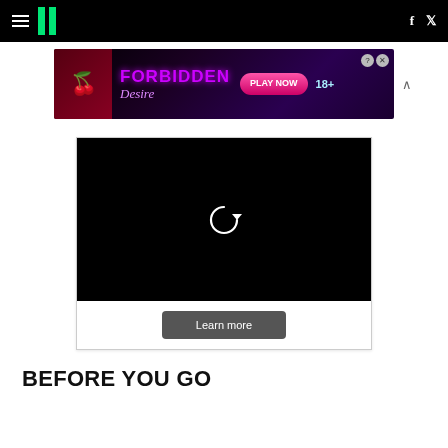HuffPost navigation bar with hamburger menu, logo, Facebook and Twitter icons
[Figure (screenshot): Advertisement banner for 'Forbidden Desire' game with a 'PLAY NOW' button and '18+' rating]
[Figure (screenshot): Video player (black screen) with a replay/loading icon in the center]
Learn more
BEFORE YOU GO